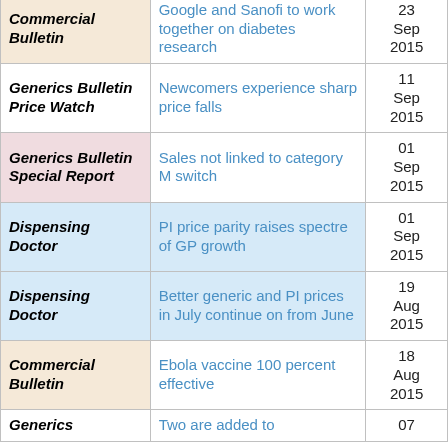| Source | Title | Date |
| --- | --- | --- |
|  | parity |  |
| Commercial Bulletin | Google and Sanofi to work together on diabetes research | 23 Sep 2015 |
| Generics Bulletin Price Watch | Newcomers experience sharp price falls | 11 Sep 2015 |
| Generics Bulletin Special Report | Sales not linked to category M switch | 01 Sep 2015 |
| Dispensing Doctor | PI price parity raises spectre of GP growth | 01 Sep 2015 |
| Dispensing Doctor | Better generic and PI prices in July continue on from June | 19 Aug 2015 |
| Commercial Bulletin | Ebola vaccine 100 percent effective | 18 Aug 2015 |
| Generics | Two are added to | 07 |